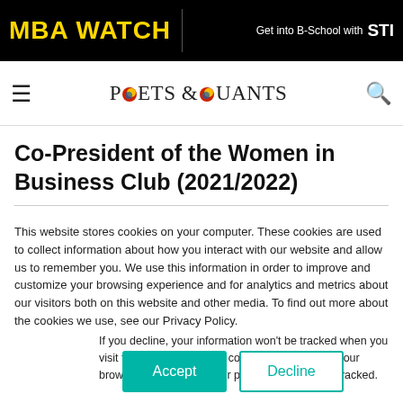MBA WATCH | Get into B-School with STI
[Figure (logo): Poets & Quants logo with navigation hamburger menu and search icon]
Co-President of the Women in Business Club (2021/2022)
This website stores cookies on your computer. These cookies are used to collect information about how you interact with our website and allow us to remember you. We use this information in order to improve and customize your browsing experience and for analytics and metrics about our visitors both on this website and other media. To find out more about the cookies we use, see our Privacy Policy.
If you decline, your information won't be tracked when you visit this website. A single cookie will be used in your browser to remember your preference not to be tracked.